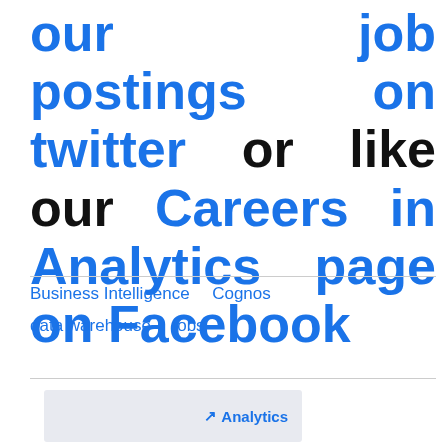our job postings on twitter or like our Careers in Analytics page on Facebook
Business Intelligence
Cognos
data warehouse
jobs
[Figure (logo): Analytics logo with upward arrow icon and text 'Analytics']